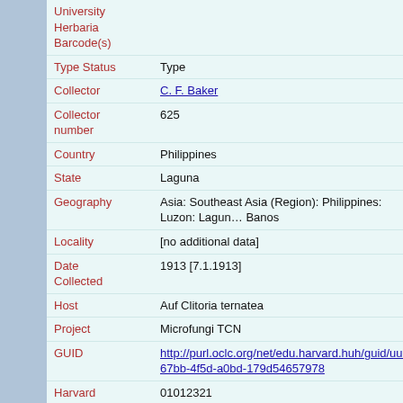| Field | Value |
| --- | --- |
| University Herbaria Barcode(s) |  |
| Type Status | Type |
| Collector | C. F. Baker |
| Collector number | 625 |
| Country | Philippines |
| State | Laguna |
| Geography | Asia: Southeast Asia (Region): Philippines: Luzon: Laguna: Los Banos |
| Locality | [no additional data] |
| Date Collected | 1913 [7.1.1913] |
| Host | Auf Clitoria ternatea |
| Project | Microfungi TCN |
| GUID | http://purl.oclc.org/net/edu.harvard.huh/guid/uuid/d7b67bb-4f5d-a0bd-179d54657978 |
| Harvard University Herbaria Barcode | 01012321 |
| Herbarium | FH |